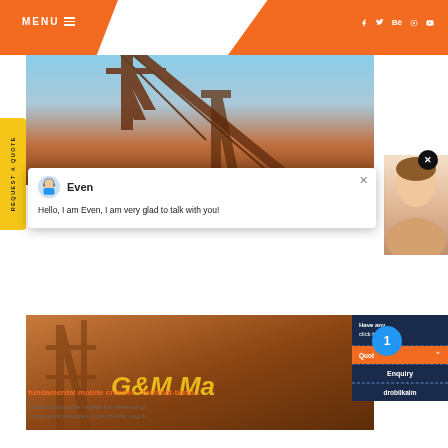MENU  (hamburger icon)  |  f  t  Be  Pinterest  YouTube
[Figure (photo): Industrial crane/conveyor structure silhouetted against blue sky, with orange/rust metalwork visible]
REQUEST A QUOTE
[Figure (screenshot): Chat popup with avatar icon of a support agent named 'Even'. Message reads: Hello, I am Even, I am very glad to talk with you! Close button (X) in top right.]
[Figure (photo): G&M Ma... branding text visible in yellow/gold on industrial orange/brown background, bottom photo section]
[Figure (photo): Female customer service agent photo on right side, partial view]
Have any  click here.
Quot  (chevron up)
Enquiry
drobilkalm
fundamental mobile crusher - fourmat-band...
fundamental mobile crusher fob reference pr...
fundamental principles of jaw crusher stsg fu...